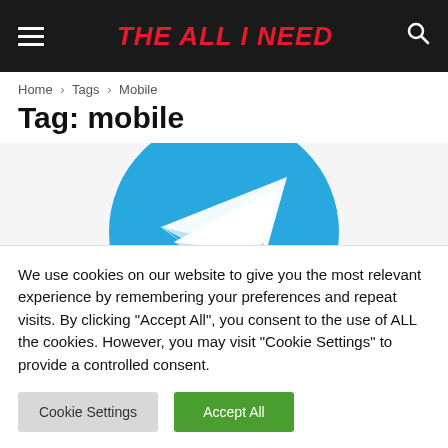THE ALL I NEED
Home › Tags › Mobile
Tag: mobile
[Figure (logo): Telegram app logo — white paper plane icon on a blue circle background]
We use cookies on our website to give you the most relevant experience by remembering your preferences and repeat visits. By clicking "Accept All", you consent to the use of ALL the cookies. However, you may visit "Cookie Settings" to provide a controlled consent.